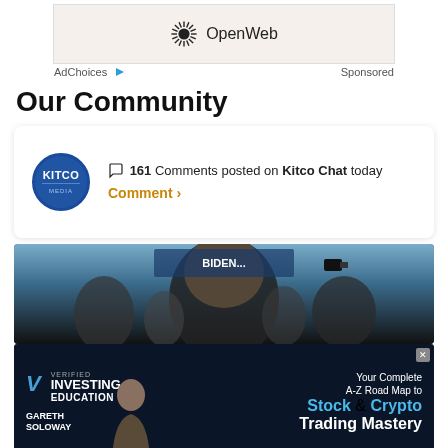[Figure (screenshot): OpenWeb advertisement banner with OpenWeb starburst logo and text]
AdChoices ▷     Sponsored
Our Community
💬 161 Comments posted on Kitco Chat today
Comment ›
[Figure (photo): Photo of a person (appears to be a public figure) surrounded by crowd and cameras]
[Figure (screenshot): Advertisement for Verified Investing Education - Gareth Soloway: Your Complete A-Z Road Map to Stock & Crypto Trading Mastery]
[Figure (screenshot): Blue button bar at bottom of page]